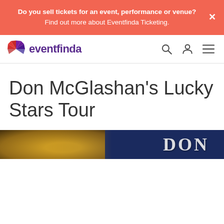Do you sell tickets for an event, performance or venue? Find out more about Eventfinda Ticketing.
eventfinda
Don McGlashan's Lucky Stars Tour
[Figure (photo): Partial event banner image showing yellowy-golden tones on left and dark navy blue on right with large white text 'DON']